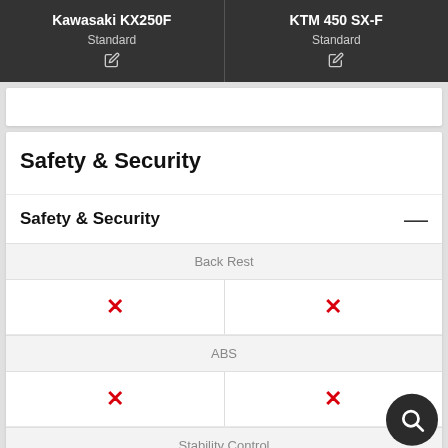Kawasaki KX250F | KTM 450 SX-F
Standard | Standard
Safety & Security
Safety & Security
|  | Kawasaki KX250F | KTM 450 SX-F |
| --- | --- | --- |
| Back Rest | ✗ | ✗ |
| ABS | ✗ | ✗ |
| Stability Control | ✗ | ✗ |